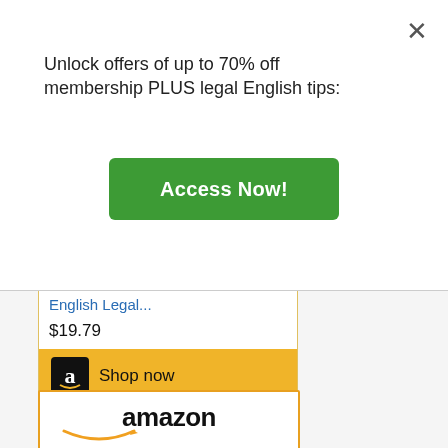Unlock offers of up to 70% off membership PLUS legal English tips:
[Figure (screenshot): Green 'Access Now!' button]
English Legal...
$19.79
[Figure (screenshot): Amazon 'Shop now' button with Amazon logo]
[Figure (screenshot): Amazon product card showing 'The English Legal System' book cover with Lady Justice illustration]
English Legal System
$22.91 Prime